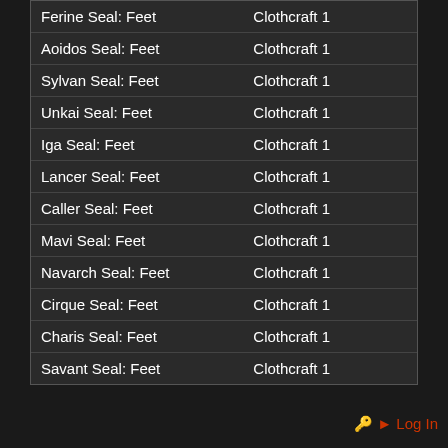| Item | Craft |
| --- | --- |
| Ferine Seal: Feet | Clothcraft 1 |
| Aoidos Seal: Feet | Clothcraft 1 |
| Sylvan Seal: Feet | Clothcraft 1 |
| Unkai Seal: Feet | Clothcraft 1 |
| Iga Seal: Feet | Clothcraft 1 |
| Lancer Seal: Feet | Clothcraft 1 |
| Caller Seal: Feet | Clothcraft 1 |
| Mavi Seal: Feet | Clothcraft 1 |
| Navarch Seal: Feet | Clothcraft 1 |
| Cirque Seal: Feet | Clothcraft 1 |
| Charis Seal: Feet | Clothcraft 1 |
| Savant Seal: Feet | Clothcraft 1 |
Log In
[Figure (screenshot): Bootstrap, jQuery, HTML5, CSS3, and StackOverflow badge icons at bottom right, plus a scroll-to-top button]